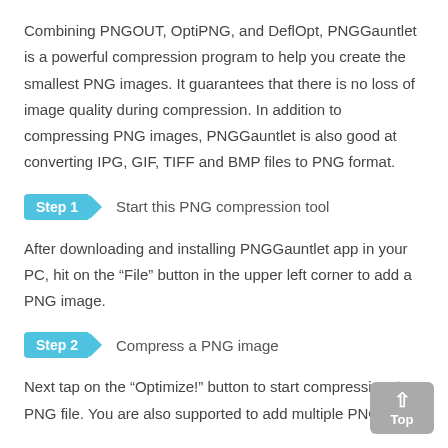Combining PNGOUT, OptiPNG, and DeflOpt, PNGGauntlet is a powerful compression program to help you create the smallest PNG images. It guarantees that there is no loss of image quality during compression. In addition to compressing PNG images, PNGGauntlet is also good at converting IPG, GIF, TIFF and BMP files to PNG format.
Step 1  Start this PNG compression tool
After downloading and installing PNGGauntlet app in your PC, hit on the “File” button in the upper left corner to add a PNG image.
Step 2  Compress a PNG image
Next tap on the “Optimize!” button to start compressing the PNG file. You are also supported to add multiple PNG